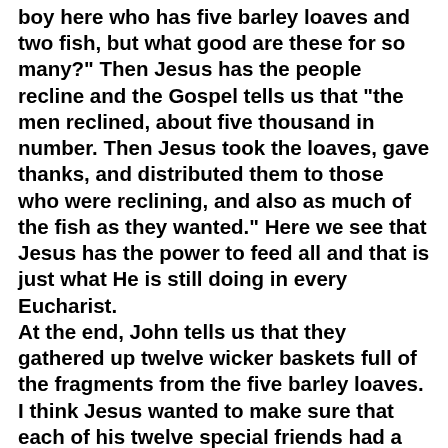boy here who has five barley loaves and two fish, but what good are these for so many?" Then Jesus has the people recline and the Gospel tells us that "the men reclined, about five thousand in number. Then Jesus took the loaves, gave thanks, and distributed them to those who were reclining, and also as much of the fish as they wanted." Here we see that Jesus has the power to feed all and that is just what He is still doing in every Eucharist.
At the end, John tells us that they gathered up twelve wicker baskets full of the fragments from the five barley loaves. I think Jesus wanted to make sure that each of his twelve special friends had a basket because he is going to send them off while he withdraws again to the mountain alone.
Now, put yourself into this story and see how consoling it is - there is a need, Jesus takes the little they have and takes care of the need. Then,